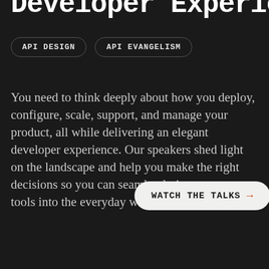Developer Experience
API DESIGN
API EVANGELISM
You need to think deeply about how you deploy, configure, scale, support, and manage your product, all while delivering an elegant developer experience. Our speakers shed light on the landscape and help you make the right decisions so you can seamlessly integrate your tools into the everyday workflows of developers.
WATCH THE TALKS →